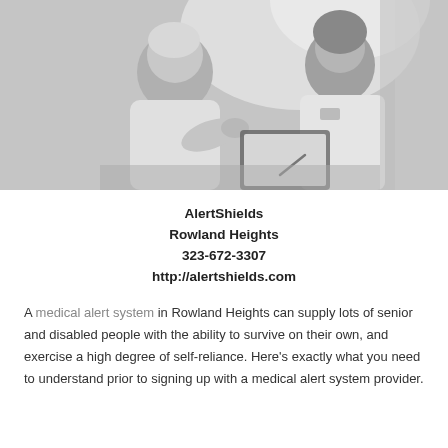[Figure (photo): Black and white photo of an elderly person and a healthcare worker reviewing a document together, seated at a table.]
AlertShields
Rowland Heights
323-672-3307
http://alertshields.com
A medical alert system in Rowland Heights can supply lots of senior and disabled people with the ability to survive on their own, and exercise a high degree of self-reliance. Here's exactly what you need to understand prior to signing up with a medical alert system provider.